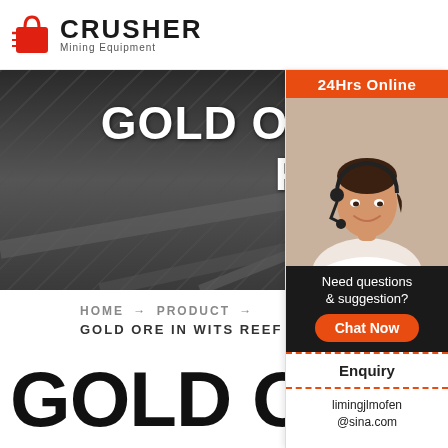[Figure (logo): Crusher Mining Equipment logo with red shopping bag icon and bold CRUSHER text]
[Figure (photo): Dark industrial mining conveyor equipment hero image with white bold text reading GOLD ORE IN WITS REEF PICTURES]
GOLD ORE IN WITS REEF PICTURES
HOME → PRODUCT → GOLD ORE IN WITS REEF PICTURES
GOLD ORE IN WITS REEF
[Figure (photo): 24Hrs Online customer service representative woman with headset smiling]
Need questions & suggestion?
Chat Now
Enquiry
limingjlmofen@sina.com